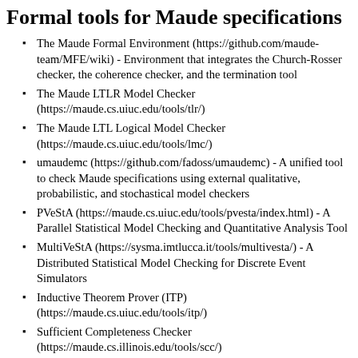Formal tools for Maude specifications
The Maude Formal Environment (https://github.com/maude-team/MFE/wiki) - Environment that integrates the Church-Rosser checker, the coherence checker, and the termination tool
The Maude LTLR Model Checker (https://maude.cs.uiuc.edu/tools/tlr/)
The Maude LTL Logical Model Checker (https://maude.cs.uiuc.edu/tools/lmc/)
umaudemc (https://github.com/fadoss/umaudemc) - A unified tool to check Maude specifications using external qualitative, probabilistic, and stochastical model checkers
PVeStA (https://maude.cs.uiuc.edu/tools/pvesta/index.html) - A Parallel Statistical Model Checking and Quantitative Analysis Tool
MultiVeStA (https://sysma.imtlucca.it/tools/multivesta/) - A Distributed Statistical Model Checking for Discrete Event Simulators
Inductive Theorem Prover (ITP) (https://maude.cs.uiuc.edu/tools/itp/)
Sufficient Completeness Checker (https://maude.cs.illinois.edu/tools/scc/)
Maude-NPA - Maude-NRL Protocol Analyzer
Equality Enrichments for Order-Sorted Maude Theories (https://maude.cs.illinois.edu/tools/eq-enrich/)
ct-CINNI (https://maude.cs.uiuc.edu/tools/ct-cinni/)